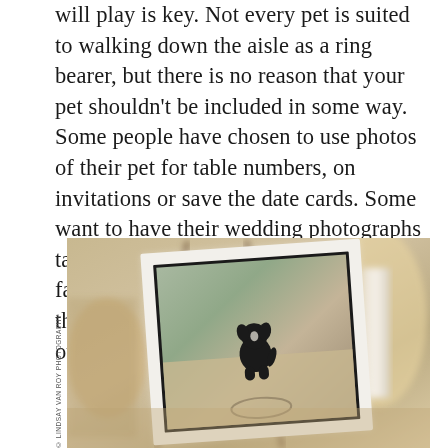will play is key. Not every pet is suited to walking down the aisle as a ring bearer, but there is no reason that your pet shouldn't be included in some way. Some people have chosen to use photos of their pet for table numbers, on invitations or save the date cards. Some want to have their wedding photographs taken with their favorite four-legged family member, others want to mention their pet in their wedding vows, while others want their pet front and center.
[Figure (photo): A framed photograph of a dog sitting on sandy ground, displayed on an easel at a wedding reception setting. The photo is in a black-bordered white frame. Warm blurred background with golden tones.]